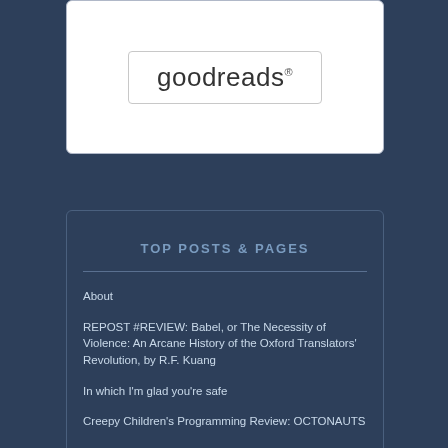[Figure (logo): Goodreads logo in a rounded rectangle border]
TOP POSTS & PAGES
About
REPOST #REVIEW: Babel, or The Necessity of Violence: An Arcane History of the Oxford Translators' Revolution, by R.F. Kuang
In which I'm glad you're safe
Creepy Children's Programming Review: OCTONAUTS
On T.L Klune's THE HOUSE IN THE CERULEAN SEA